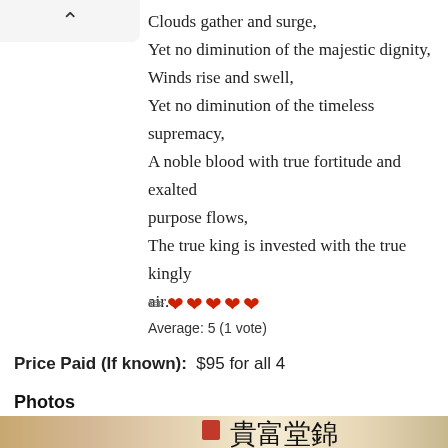Clouds gather and surge,
Yet no diminution of the majestic dignity,
Winds rise and swell,
Yet no diminution of the timeless supremacy,
A noble blood with true fortitude and exalted purpose flows,
The true king is invested with the true kingly air.
[Figure (other): Star rating widget showing a pencil/edit icon followed by four red heart icons, indicating a rating of 5 out of 5.]
Average: 5 (1 vote)
Price Paid (If known):  $95 for all 4
Photos
[Figure (photo): Partial photo showing Chinese calligraphy characters on white fabric/paper along with brown decorative object and circular golden element. Red seal stamp visible. Characters read: 貴富堂錦]